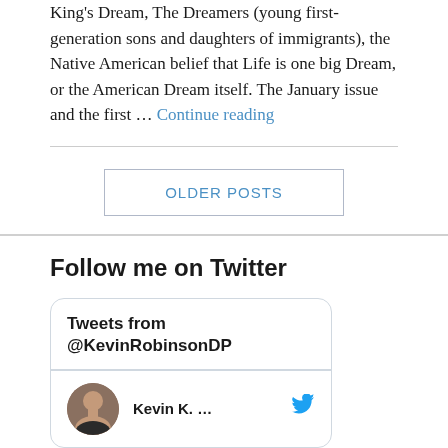King's Dream, The Dreamers (young first-generation sons and daughters of immigrants), the Native American belief that Life is one big Dream, or the American Dream itself.  The January issue and the first … Continue reading
OLDER POSTS
Follow me on Twitter
Tweets from @KevinRobinsonDP
Kevin K. ...